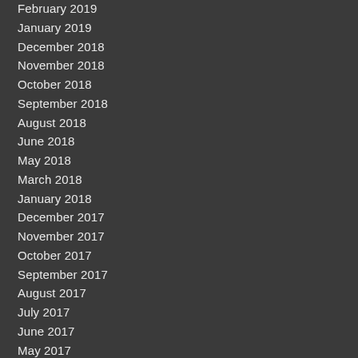February 2019
January 2019
December 2018
November 2018
October 2018
September 2018
August 2018
June 2018
May 2018
March 2018
January 2018
December 2017
November 2017
October 2017
September 2017
August 2017
July 2017
June 2017
May 2017
April 2017
March 2017